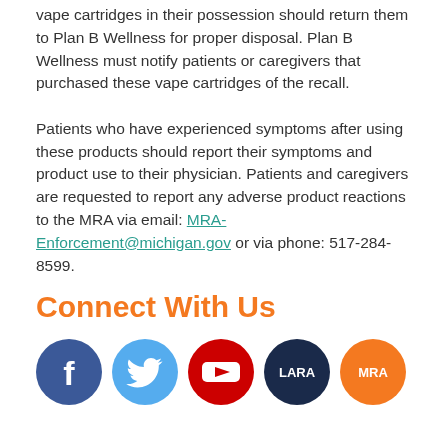vape cartridges in their possession should return them to Plan B Wellness for proper disposal. Plan B Wellness must notify patients or caregivers that purchased these vape cartridges of the recall.

Patients who have experienced symptoms after using these products should report their symptoms and product use to their physician. Patients and caregivers are requested to report any adverse product reactions to the MRA via email: MRA-Enforcement@michigan.gov or via phone: 517-284-8599.
Connect With Us
[Figure (illustration): Row of five social media icons: Facebook (blue circle with white f), Twitter (light blue circle with white bird), YouTube (red circle with white play button), LARA (dark navy circle with white LARA text), MRA (orange circle with white MRA text)]